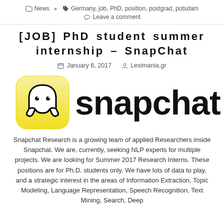News  Germany, job, PhD, position, postgrad, potsdam  Leave a comment
[JOB] PhD student summer internship – SnapChat
January 6, 2017  Leximania.gr
[Figure (logo): Snapchat logo: yellow rounded-square icon with ghost, and 'snapchat' text in bold black]
Snapchat Research is a growing team of applied Researchers inside Snapchat. We are, currently, seeking NLP experts for multiple projects. We are looking for Summer 2017 Research Interns. These positions are for Ph.D. students only. We have lots of data to play, and a strategic interest in the areas of Information Extraction, Topic Modeling, Language Representation, Speech Recognition, Text Mining, Search, Deep